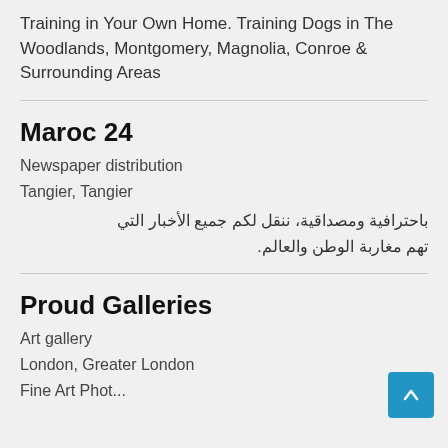Training in Your Own Home. Training Dogs in The Woodlands, Montgomery, Magnolia, Conroe & Surrounding Areas
Maroc 24
Newspaper distribution
Tangier, Tangier
باحترافية ومصداقية، ننقل لكم جميع الأخبار التي تهم مغاربة الوطن والعالم.
Proud Galleries
Art gallery
London, Greater London
Fine Art Photography